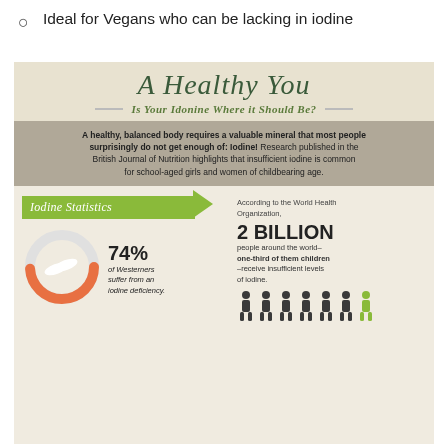Ideal for Vegans who can be lacking in iodine
[Figure (infographic): An infographic titled 'A Healthy You - Is Your Iodine Where it Should Be?' featuring body text about iodine deficiency, a donut chart showing 74% of Westerners suffer from an iodine deficiency, and a statistic that 2 Billion people receive insufficient levels of iodine according to the World Health Organization.]